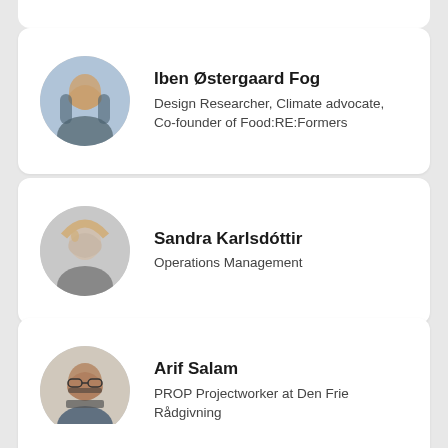[Figure (photo): Profile card for Iben Østergaard Fog with circular portrait photo]
Iben Østergaard Fog
Design Researcher, Climate advocate, Co-founder of Food:RE:Formers
[Figure (photo): Profile card for Sandra Karlsdóttir with circular black-and-white portrait photo]
Sandra Karlsdóttir
Operations Management
[Figure (photo): Profile card for Arif Salam with circular portrait photo]
Arif Salam
PROP Projectworker at Den Frie Rådgivning